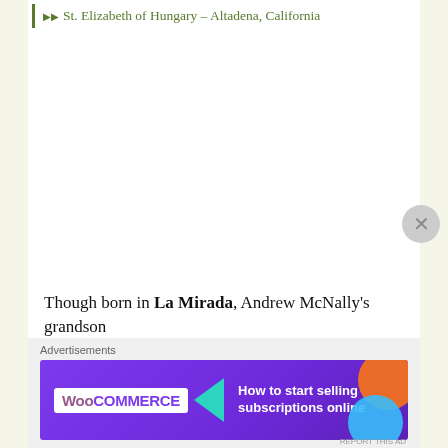St. Elizabeth of Hungary – Altadena, California
Though born in La Mirada, Andrew McNally's grandson
[Figure (screenshot): Advertisement banner for WooCommerce: 'How to start selling subscriptions online' with purple background, teal arrow icon, orange and blue circular shapes, and WooCommerce logo in white]
Advertisements